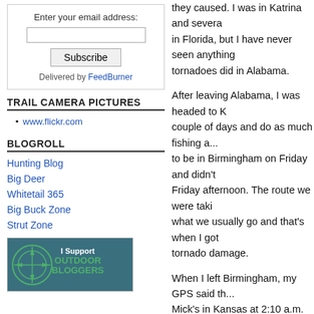Enter your email address:
Subscribe
Delivered by FeedBurner
TRAIL CAMERA PICTURES
www.flickr.com
BLOGROLL
Hunting Blog
Big Deer
Whitetail 365
Big Buck Zone
Strut Zone
[Figure (logo): I Support Outdoor Bloggers badge with compass rose icon]
they caused. I was in Katrina and several hurricanes in Florida, but I have never seen anything like the tornadoes did in Alabama.

After leaving Alabama, I was headed to Kentucky a couple of days and do as much fishing as possible. I had to be in Birmingham on Friday and didn't leave until Friday afternoon. The route we were taking wasn't what we usually go and that's when I got to see the tornado damage.

When I left Birmingham, my GPS said that we'd be at Mick's in Kansas at 2:10 a.m. But when we got to Arkansas, all of that changed. The road that was to take us to Springfield, Missouri, was closed due to floods. I got the GPS and the map and found another route that took me around the flooded road. After a twenty mile detour, I thought we had made it and hit another road closed due to floods.

At this time, we were in north Arkansas close to the Missouri line. In talking with the crew that was at the roadblock, we plotted out the route we were going to have to take to get around the roadblock and that broke out hearts. We found a route around the flooded area and it added...